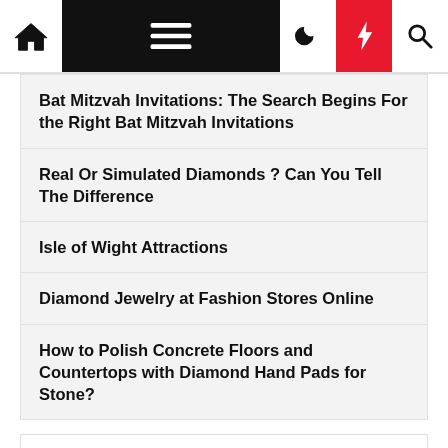Navigation bar with home, menu, moon, bolt, and search icons
Bat Mitzvah Invitations: The Search Begins For the Right Bat Mitzvah Invitations
Real Or Simulated Diamonds ? Can You Tell The Difference
Isle of Wight Attractions
Diamond Jewelry at Fashion Stores Online
How to Polish Concrete Floors and Countertops with Diamond Hand Pads for Stone?
Categories